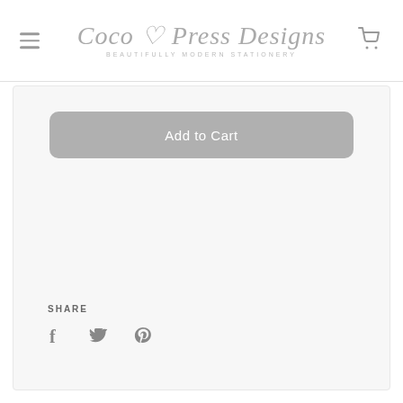Coco Press Designs – BEAUTIFULLY MODERN STATIONERY
[Figure (screenshot): Add to Cart button – rounded rectangle, grey background with white text 'Add to Cart']
SHARE
[Figure (infographic): Social share icons: Facebook (f), Twitter (bird), Pinterest (P)]